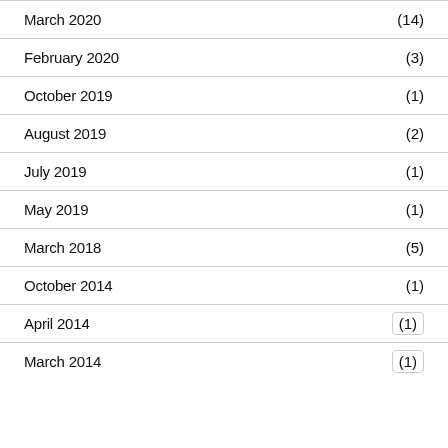March 2020 (14)
February 2020 (3)
October 2019 (1)
August 2019 (2)
July 2019 (1)
May 2019 (1)
March 2018 (5)
October 2014 (1)
April 2014 (1)
March 2014 (1)